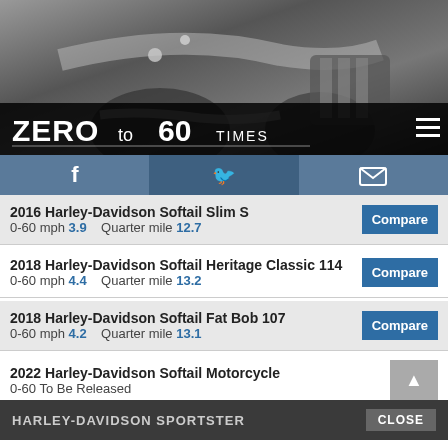[Figure (photo): Black and white photograph of a motorcycle (Harley-Davidson style) showing seat, fuel tank, engine and chrome details]
ZERO to 60 TIMES
[Figure (infographic): Social media bar with Facebook, Twitter, and email/envelope icons on blue/steel background]
2016 Harley-Davidson Softail Slim S
0-60 mph 3.9   Quarter mile 12.7
2018 Harley-Davidson Softail Heritage Classic 114
0-60 mph 4.4   Quarter mile 13.2
2018 Harley-Davidson Softail Fat Bob 107
0-60 mph 4.2   Quarter mile 13.1
2022 Harley-Davidson Softail Motorcycle
0-60 To Be Released
HARLEY-DAVIDSON SPORTSTER
2003 Harley-Davidson Sportster 1200 Custom
0-60 mph 4.6   Quarter mile 13.0